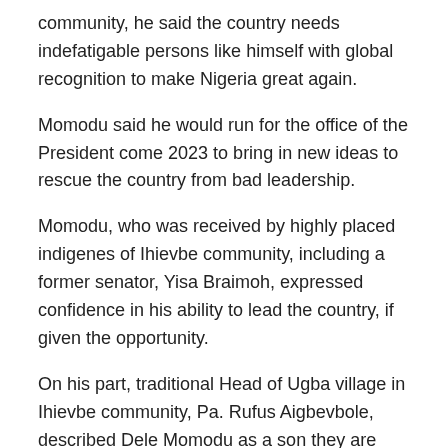community, he said the country needs indefatigable persons like himself with global recognition to make Nigeria great again.
Momodu said he would run for the office of the President come 2023 to bring in new ideas to rescue the country from bad leadership.
Momodu, who was received by highly placed indigenes of Ihievbe community, including a former senator, Yisa Braimoh, expressed confidence in his ability to lead the country, if given the opportunity.
On his part, traditional Head of Ugba village in Ihievbe community, Pa. Rufus Aigbevbole, described Dele Momodu as a son they are well pleased with.
“It is a thing of joy and will always remain in our memory for long to have you in our midst today, particularly when I am still alive as the village head of your immediate community of Ugba. I would have message of hope to deliver to your loving father (Oboh